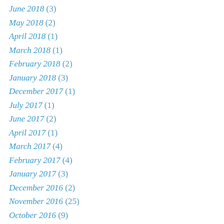June 2018 (3)
May 2018 (2)
April 2018 (1)
March 2018 (1)
February 2018 (2)
January 2018 (3)
December 2017 (1)
July 2017 (1)
June 2017 (2)
April 2017 (1)
March 2017 (4)
February 2017 (4)
January 2017 (3)
December 2016 (2)
November 2016 (25)
October 2016 (9)
September 2016 (19)
August 2016 (14)
July 2016 (9)
June 2016 (21)